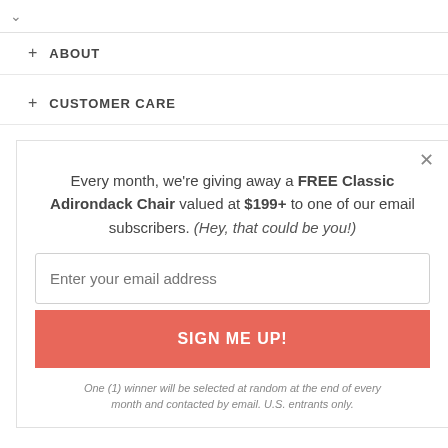+ ABOUT
+ CUSTOMER CARE
Every month, we're giving away a FREE Classic Adirondack Chair valued at $199+ to one of our email subscribers. (Hey, that could be you!)
Enter your email address
SIGN ME UP!
One (1) winner will be selected at random at the end of every month and contacted by email. U.S. entrants only.